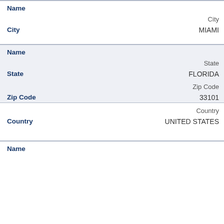| Field | Value |
| --- | --- |
| Name (header) | City |
| City | MIAMI |
| Name (header) | State |
| State | FLORIDA |
| Zip Code (label) | Zip Code |
| Zip Code | 33101 |
| Country (label) | Country |
| Country | UNITED STATES |
| Name (header) |  |